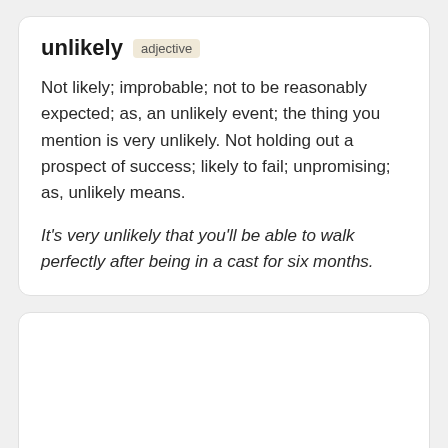unlikely  adjective
Not likely; improbable; not to be reasonably expected; as, an unlikely event; the thing you mention is very unlikely. Not holding out a prospect of success; likely to fail; unpromising; as, unlikely means.
It's very unlikely that you'll be able to walk perfectly after being in a cast for six months.